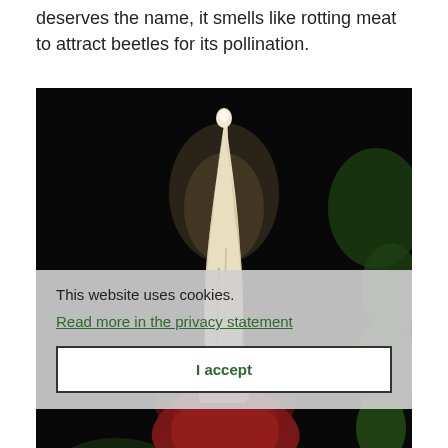deserves the name, it smells like rotting meat to attract beetles for its pollination.
[Figure (photo): A tall white spadix of a corpse flower (Amorphophallus titanum) photographed at night against a black background, with green leaves visible on the right side and reddish spathe at the base.]
This website uses cookies.
Read more in the privacy statement
I accept